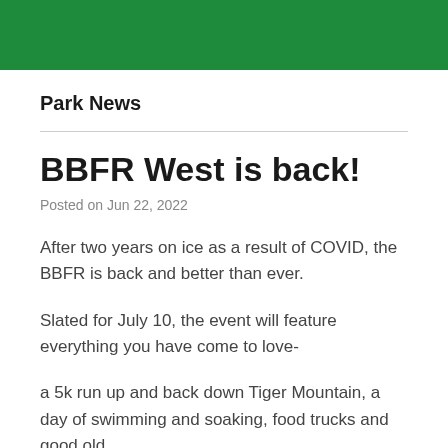Park News
BBFR West is back!
Posted on Jun 22, 2022
After two years on ice as a result of COVID, the BBFR is back and better than ever.
Slated for July 10, the event will feature everything you have come to love-
a 5k run up and back down Tiger Mountain, a day of swimming and soaking, food trucks and good old